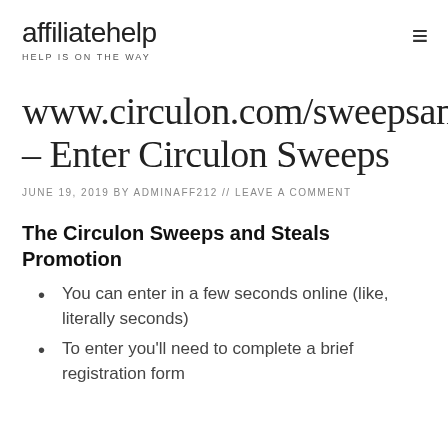affiliatehelp
HELP IS ON THE WAY
www.circulon.com/sweepsand – Enter Circulon Sweeps
JUNE 19, 2019 BY ADMINAFF212 // LEAVE A COMMENT
The Circulon Sweeps and Steals Promotion
You can enter in a few seconds online (like, literally seconds)
To enter you'll need to complete a brief registration form